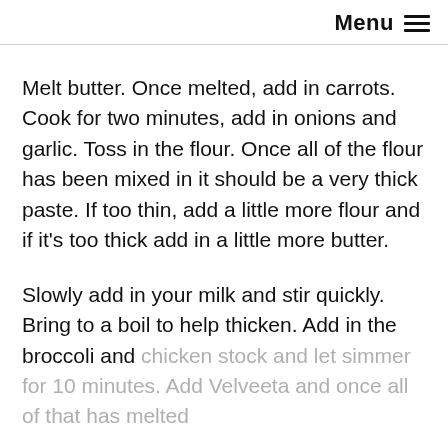Menu ≡
Melt butter. Once melted, add in carrots. Cook for two minutes, add in onions and garlic. Toss in the flour. Once all of the flour has been mixed in it should be a very thick paste. If too thin, add a little more flour and if it's too thick add in a little more butter.
Slowly add in your milk and stir quickly. Bring to a boil to help thicken. Add in the broccoli and chicken stock and let simmer for 10 minutes. Add Velveeta and once all of that has melted